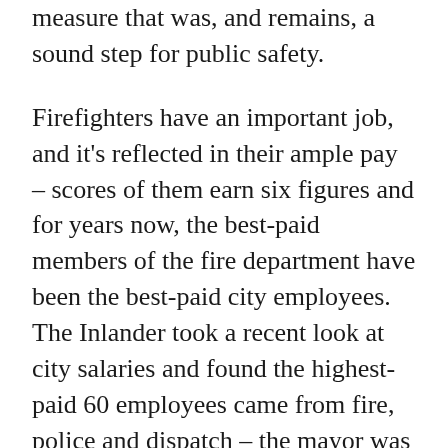measure that was, and remains, a sound step for public safety.
Firefighters have an important job, and it's reflected in their ample pay – scores of them earn six figures and for years now, the best-paid members of the fire department have been the best-paid city employees. The Inlander took a recent look at city salaries and found the highest-paid 60 employees came from fire, police and dispatch – the mayor was 151st.
A deep irony reflected in that reporting was the fact that the single highest-paid employee in the city – salary plus a ton of extras such as unused leave – was a vaccine refuser, Battalion Chief David